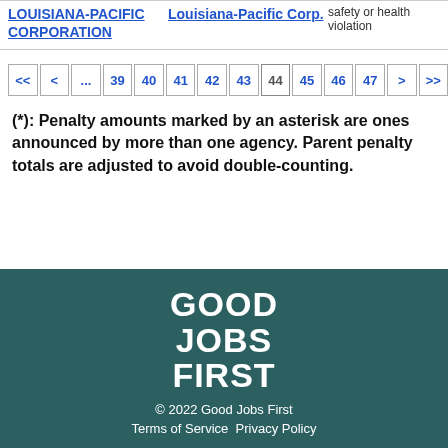| Company | Primary Offense | Description |
| --- | --- | --- |
| LOUISIANA-PACIFIC CORPORATION | Louisiana-Pacific Corp. | safety or health violation |
<< < ... 39 40 41 42 43 44 45 46 47 > >>
(*): Penalty amounts marked by an asterisk are ones announced by more than one agency. Parent penalty totals are adjusted to avoid double-counting.
GOOD JOBS FIRST
© 2022 Good Jobs First
Terms of Service  Privacy Policy